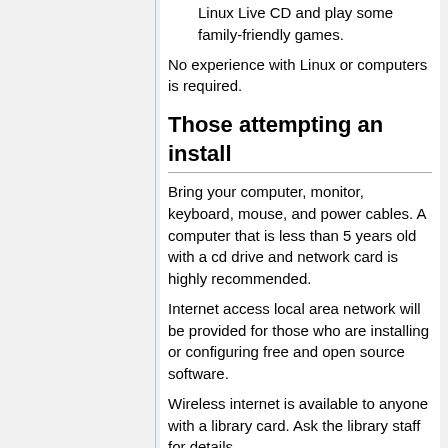Linux Live CD and play some family-friendly games.
No experience with Linux or computers is required.
Those attempting an install
Bring your computer, monitor, keyboard, mouse, and power cables. A computer that is less than 5 years old with a cd drive and network card is highly recommended.
Internet access local area network will be provided for those who are installing or configuring free and open source software.
Wireless internet is available to anyone with a library card. Ask the library staff for details.